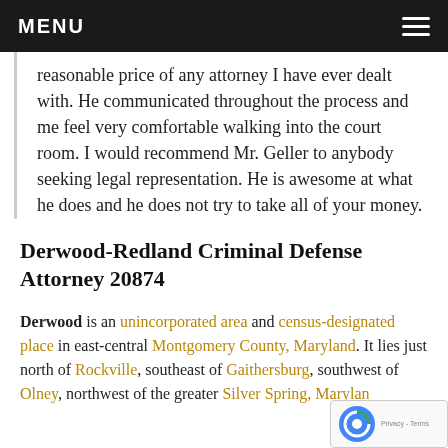MENU
reasonable price of any attorney I have ever dealt with. He communicated throughout the process and me feel very comfortable walking into the court room. I would recommend Mr. Geller to anybody seeking legal representation. He is awesome at what he does and he does not try to take all of your money.
Derwood-Redland Criminal Defense Attorney 20874
Derwood is an unincorporated area and census-designated place in east-central Montgomery County, Maryland. It lies just north of Rockville, southeast of Gaithersburg, southwest of Olney, northwest of the greater Silver Spring, Maryland